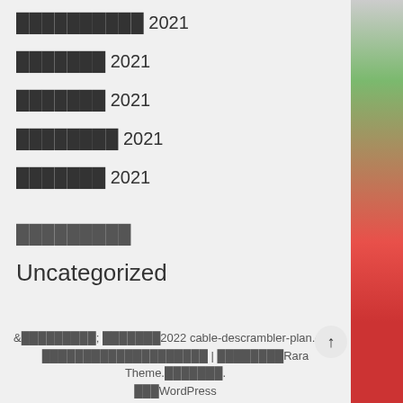██████████ 2021
███████ 2021
███████ 2021
████████ 2021
███████ 2021
█████████
Uncategorized
&█████████; ███████2022 cable-descrambler-plan.com ████████████████████ | ████████Rara Theme.███████.███WordPress